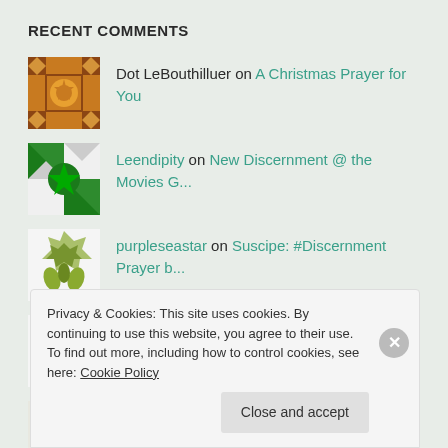RECENT COMMENTS
Dot LeBouthilluer on A Christmas Prayer for You
Leendipity on New Discernment @ the Movies G...
purpleseastar on Suscipe: #Discernment Prayer b...
Brianna on Letting Go of Discernment Anxi...
Brendan on Beauty & Importance of #Di...
Privacy & Cookies: This site uses cookies. By continuing to use this website, you agree to their use. To find out more, including how to control cookies, see here: Cookie Policy
Close and accept